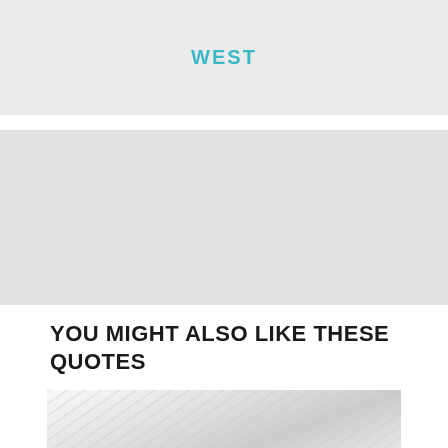WEST
[Figure (other): Gray placeholder image block]
YOU MIGHT ALSO LIKE THESE QUOTES
[Figure (photo): White marble or wood grain texture photo, partially visible at bottom of page]